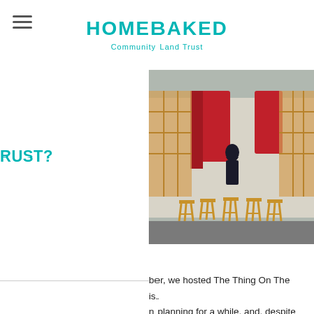HOMEBAKED Community Land Trust
site for the Homebaked bakery.
RUST?
[Figure (photo): Outdoor installation with wooden frames and lattice structures, red curtain draped in background, wooden stools arranged in foreground, person standing in middle ground, overcast day in a car park.]
ber, we hosted The Thing On The
is.
n planning for a while, and, despite
it was a wonderful day!